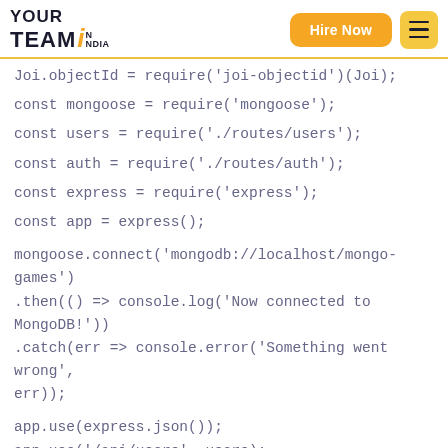YOUR TEAM IN INDIA — Hire Now
Joi.objectId = require('joi-objectid')(Joi);

const mongoose = require('mongoose');

const users = require('./routes/users');

const auth = require('./routes/auth');

const express = require('express');

const app = express();

mongoose.connect('mongodb://localhost/mongo-games')
.then(() => console.log('Now connected to MongoDB!'))
.catch(err => console.error('Something went wrong', err));

app.use(express.json());
app.use('/api/users', users);